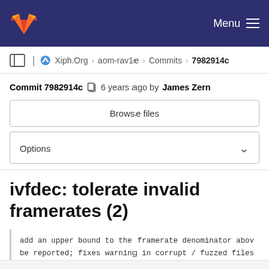GitLab navigation bar with logo and Menu
Xiph.Org › aom-rav1e › Commits › 7982914c
Commit 7982914c  6 years ago by James Zern
Browse files
Options
ivfdec: tolerate invalid framerates (2)
add an upper bound to the framerate denominator abov be reported; fixes warning in corrupt / fuzzed files

Change-Id: I46a6a6f34ab756535cd009fe12273d83dcc1e9f1